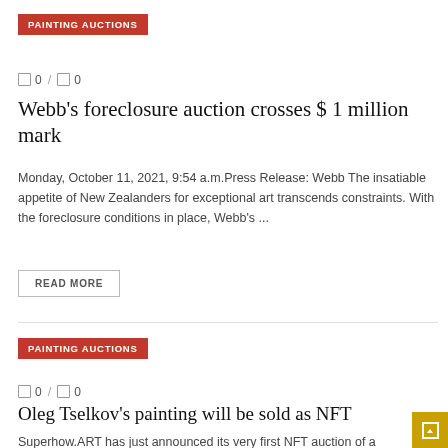PAINTING AUCTIONS
0 / 0
Webb's foreclosure auction crosses $ 1 million mark
Monday, October 11, 2021, 9:54 a.m.Press Release: Webb The insatiable appetite of New Zealanders for exceptional art transcends constraints. With the foreclosure conditions in place, Webb's ...
READ MORE
PAINTING AUCTIONS
0 / 0
Oleg Tselkov's painting will be sold as NFT
Superhow.ART has just announced its very first NFT auction of a real art painting. The auction will be open to all bidders as there could be ...